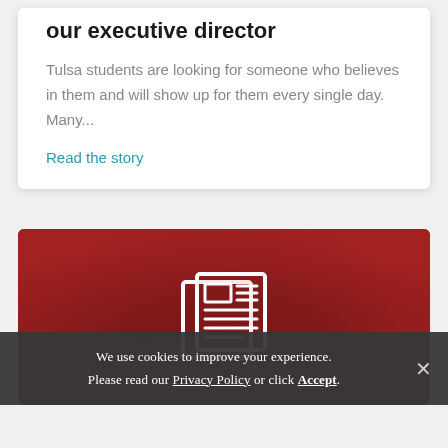our executive director
Tulsa students are looking for someone who believes in them and will show up for them every single day. Many...
Read the story
[Figure (illustration): Red banner section with silhouetted people figures in background and a white newspaper/document icon centered in the foreground]
We use cookies to improve your experience. Please read our Privacy Policy or click Accept.